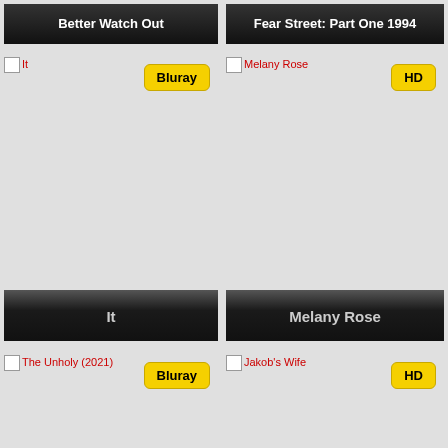[Figure (screenshot): Movie card for 'Better Watch Out' with dark gradient title bar]
[Figure (screenshot): Movie card for 'Fear Street: Part One 1994' with dark gradient title bar]
[Figure (screenshot): Movie thumbnail for 'It' with Bluray badge]
[Figure (screenshot): Movie thumbnail for 'Melany Rose' with HD badge]
[Figure (screenshot): Bottom title bar 'It' and 'Melany Rose']
[Figure (screenshot): Movie thumbnail for 'The Unholy (2021)' with Bluray badge]
[Figure (screenshot): Movie thumbnail for 'Jakob's Wife' with HD badge]